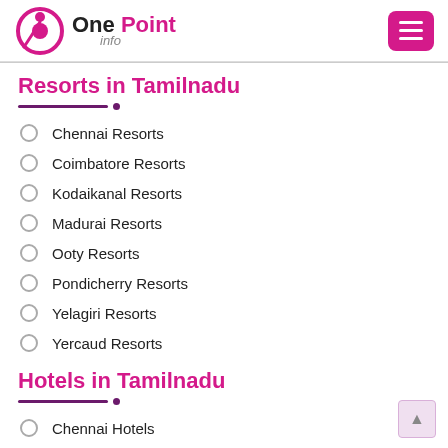One Point info
Resorts in Tamilnadu
Chennai Resorts
Coimbatore Resorts
Kodaikanal Resorts
Madurai Resorts
Ooty Resorts
Pondicherry Resorts
Yelagiri Resorts
Yercaud Resorts
Hotels in Tamilnadu
Chennai Hotels